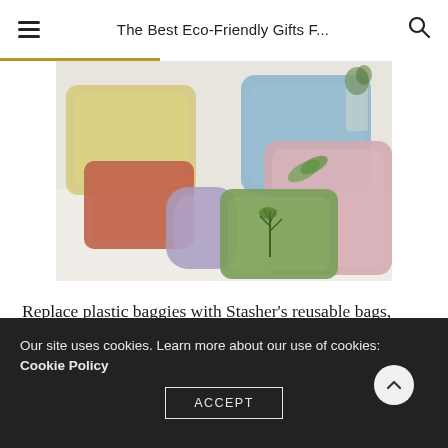The Best Eco-Friendly Gifts F...
[Figure (photo): Colorful reusable silicone storage bags (Stasher brand) in yellow, red, purple, blue, pink, and green with herbs inside, arranged on a white surface.]
Replace plastic baggies with Stasher’s reusable bags, which are made with non-toxic food-grade platinum silicone. This starter kit includes the following sizes:
Our site uses cookies. Learn more about our use of cookies: Cookie Policy